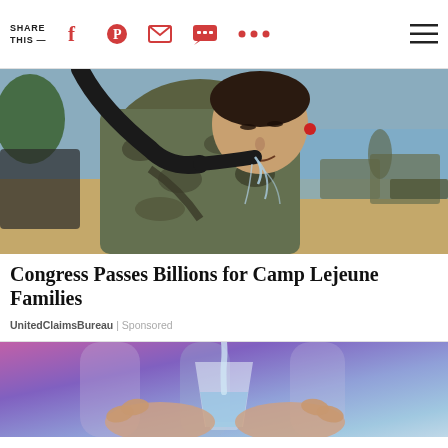SHARE THIS —
[Figure (photo): A US Marine in camouflage uniform leaning forward drinking water from a hose outdoors near a waterfront with military vehicles in background]
Congress Passes Billions for Camp Lejeune Families
UnitedClaimsBureau | Sponsored
[Figure (photo): Close-up of hands holding a glass of water with a blurred purple/teal background]